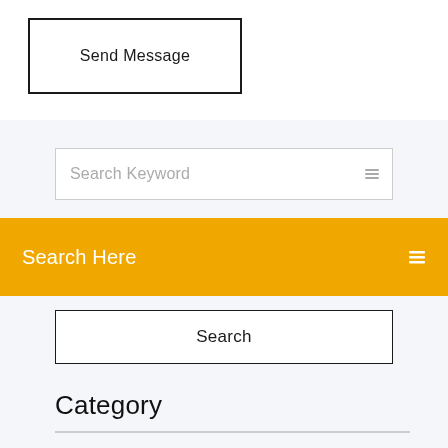Send Message
Search Keyword
Search Here
Search
Category
Gta san andreas cheat codes for pc infinite health